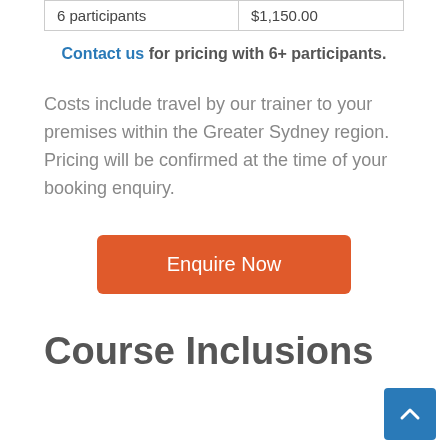| 6 participants | $1,150.00 |
Contact us for pricing with 6+ participants.
Costs include travel by our trainer to your premises within the Greater Sydney region. Pricing will be confirmed at the time of your booking enquiry.
Enquire Now
Course Inclusions